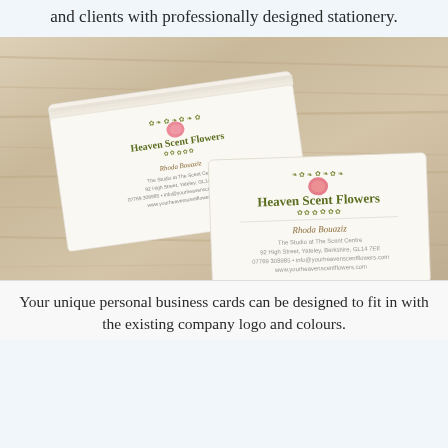and clients with professionally designed stationery.
[Figure (photo): Photo of Heaven Scent Flowers business cards stacked and laid out on a wooden surface, showing the business card design with floral motifs, the name 'Heaven Scent Flowers', and contact details for 'Rhoda Bouaziz'.]
Your unique personal business cards can be designed to fit in with the existing company logo and colours.